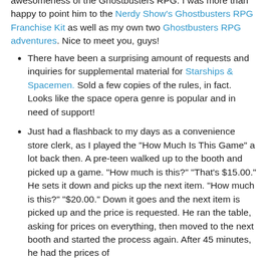awesomeness of the Ghostbusters RPG. I was more than happy to point him to the Nerdy Show's Ghostbusters RPG Franchise Kit as well as my own two Ghostbusters RPG adventures. Nice to meet you, guys!
There have been a surprising amount of requests and inquiries for supplemental material for Starships & Spacemen. Sold a few copies of the rules, in fact. Looks like the space opera genre is popular and in need of support!
Just had a flashback to my days as a convenience store clerk, as I played the "How Much Is This Game" a lot back then. A pre-teen walked up to the booth and picked up a game. "How much is this?" "That's $15.00." He sets it down and picks up the next item. "How much is this?" "$20.00." Down it goes and the next item is picked up and the price is requested. He ran the table, asking for prices on everything, then moved to the next booth and started the process again. After 45 minutes, he had the prices of